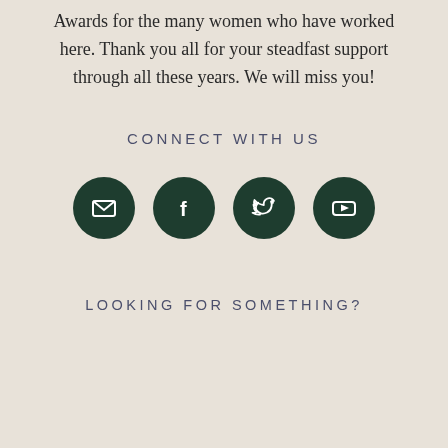Awards for the many women who have worked here. Thank you all for your steadfast support through all these years. We will miss you!
CONNECT WITH US
[Figure (infographic): Four dark green circular social media icon buttons in a row: email/envelope, Facebook, Twitter, YouTube]
LOOKING FOR SOMETHING?